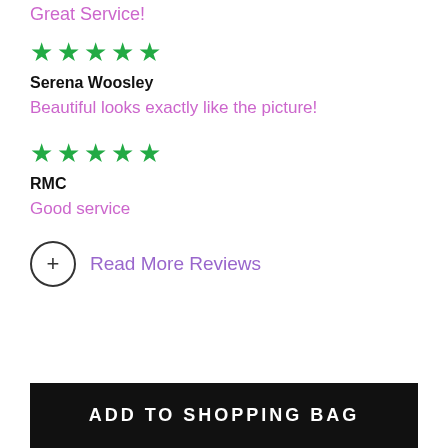Great Service!
[Figure (other): 5 green stars rating]
Serena Woosley
Beautiful looks exactly like the picture!
[Figure (other): 5 green stars rating]
RMC
Good service
Read More Reviews
ADD TO SHOPPING BAG